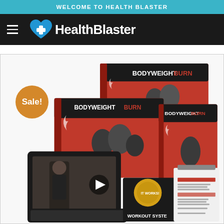WELCOME TO HEALTH BLASTER
[Figure (logo): HealthBlaster logo with blue heart icon and white text on black navigation bar, with hamburger menu icon on the left]
[Figure (photo): Product package mockup for Bodyweight Burn workout system, showing multiple book/DVD covers with fitness models, a tablet device with video, and a clipboard with workout schedule. A gold 'Sale!' badge is overlaid in the top-left corner of the product image.]